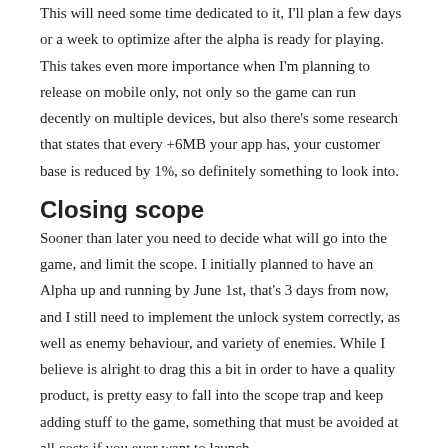This will need some time dedicated to it, I'll plan a few days or a week to optimize after the alpha is ready for playing. This takes even more importance when I'm planning to release on mobile only, not only so the game can run decently on multiple devices, but also there's some research that states that every +6MB your app has, your customer base is reduced by 1%, so definitely something to look into.
Closing scope
Sooner than later you need to decide what will go into the game, and limit the scope. I initially planned to have an Alpha up and running by June 1st, that's 3 days from now, and I still need to implement the unlock system correctly, as well as enemy behaviour, and variety of enemies. While I believe is alright to drag this a bit in order to have a quality product, is pretty easy to fall into the scope trap and keep adding stuff to the game, something that must be avoided at all costs if you ever want to launch.